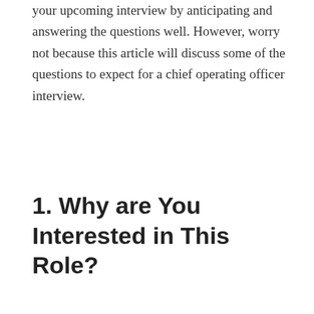your upcoming interview by anticipating and answering the questions well. However, worry not because this article will discuss some of the questions to expect for a chief operating officer interview.
1. Why are You Interested in This Role?